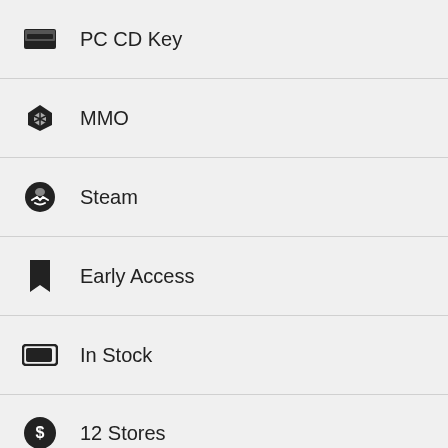PC CD Key
MMO
Steam
Early Access
In Stock
12 Stores
VALHEIM INFORMATIONS
Welcome to Valheim! The valkyries have ferried your soul to the tenth norse world as a custodian, where you must adventure to the ends of the realm, from the deepest forest to the highest mountain peak, slaying beasts from the old world, found by Odin himself. If Y...